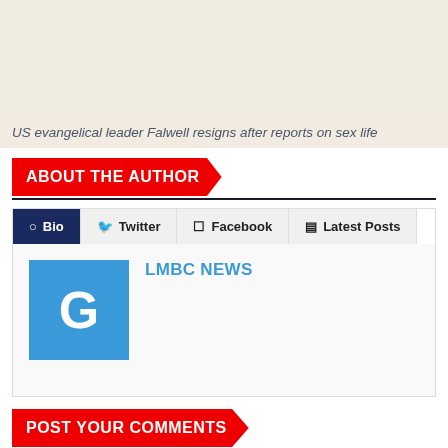[Figure (photo): Beige/tan placeholder image area for an article about US evangelical leader Falwell]
US evangelical leader Falwell resigns after reports on sex life
ABOUT THE AUTHOR
Bio | Twitter | Facebook | Latest Posts
LMBC NEWS
POST YOUR COMMENTS